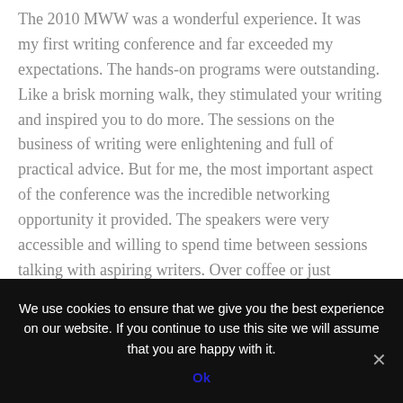The 2010 MWW was a wonderful experience. It was my first writing conference and far exceeded my expectations. The hands-on programs were outstanding. Like a brisk morning walk, they stimulated your writing and inspired you to do more. The sessions on the business of writing were enlightening and full of practical advice. But for me, the most important aspect of the conference was the incredible networking opportunity it provided. The speakers were very accessible and willing to spend time between sessions talking with aspiring writers. Over coffee or just stepping outside for some fresh air, fellow writers shared their trials and triumphs, dark moments and inspirations. I was able to meet and
We use cookies to ensure that we give you the best experience on our website. If you continue to use this site we will assume that you are happy with it.
Ok